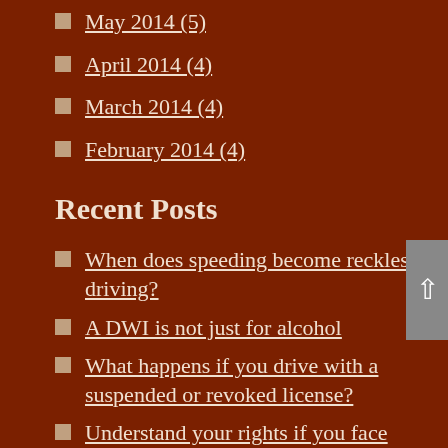May 2014 (5)
April 2014 (4)
March 2014 (4)
February 2014 (4)
Recent Posts
When does speeding become reckless driving?
A DWI is not just for alcohol
What happens if you drive with a suspended or revoked license?
Understand your rights if you face reckless driving charges